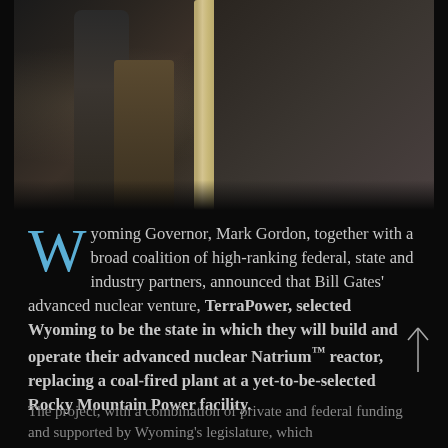[Figure (photo): A man in a suit stands at a podium speaking to a seated audience in what appears to be a government or conference room with ornate columns. The room has carpeted flooring and the audience members are visible on the right side of the image.]
Wyoming Governor, Mark Gordon, together with a broad coalition of high-ranking federal, state and industry partners, announced that Bill Gates' advanced nuclear venture, TerraPower, selected Wyoming to be the state in which they will build and operate their advanced nuclear Natrium™ reactor, replacing a coal-fired plant at a yet-to-be-selected Rocky Mountain Power facility.
The project, with a combination of private and federal funding and supported by Wyoming's legislature, which